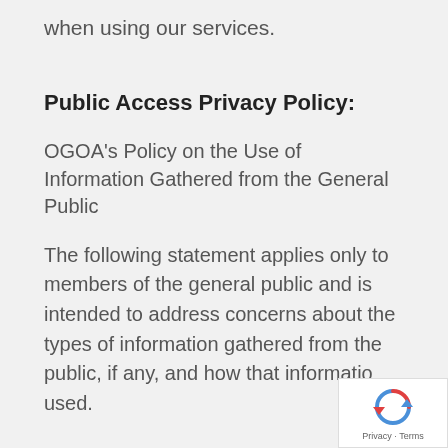continually improve your experience when using our services.
Public Access Privacy Policy:
OGOA's Policy on the Use of Information Gathered from the General Public
The following statement applies only to members of the general public and is intended to address concerns about the types of information gathered from the public, if any, and how that information used.